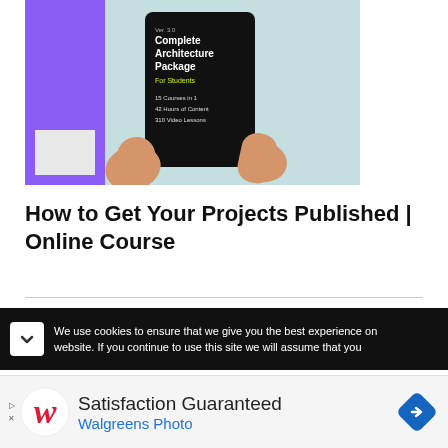[Figure (photo): Hands holding a tablet displaying 'Ver. 3.0 Complete Architecture Package For Students – 15 Courses in 1, 42 Hours of Content, 310 Video Lessons' against a purple and teal background]
How to Get Your Projects Published | Online Course
We use cookies to ensure that we give you the best experience on website. If you continue to use this site we will assume that you
[Figure (advertisement): Walgreens Photo ad: Satisfaction Guaranteed with Walgreens logo and navigation icon]